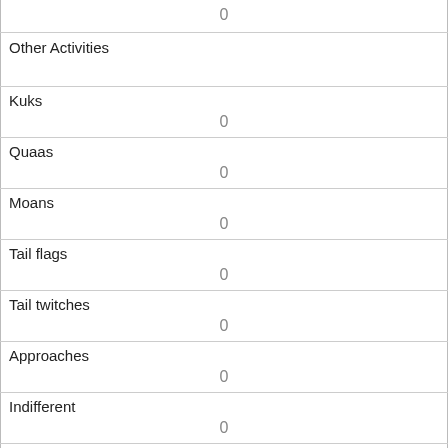| 0 |
| Other Activities |  |
| Kuks | 0 |
| Quaas | 0 |
| Moans | 0 |
| Tail flags | 0 |
| Tail twitches | 0 |
| Approaches | 0 |
| Indifferent | 0 |
| Runs from | 1 |
| Other Interactions |  |